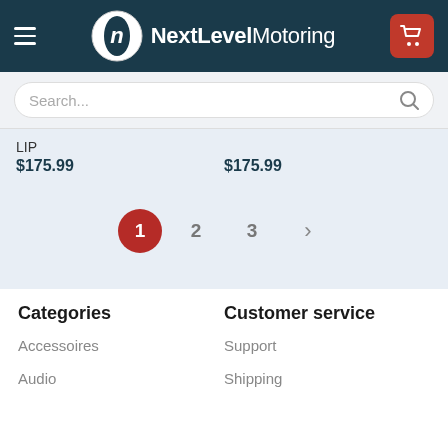NextLevelMotoring
LIP
$175.99	$175.99
[Figure (other): Pagination control showing pages 1 (active, red circle), 2, 3, and a next arrow]
Categories
Customer service
Accessoires
Support
Audio
Shipping